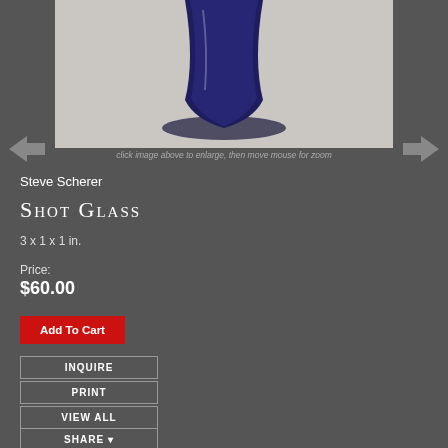[Figure (photo): Partial view of a cobalt blue shot glass (bottom portion) against a light gray/white background]
click image above to enlarge, then move mouse for zoom
Steve Scherer
Shot Glass
3 x 1 x 1 in.
Price:
$60.00
Add To Cart
INQUIRE
PRINT
VIEW ALL
SHARE